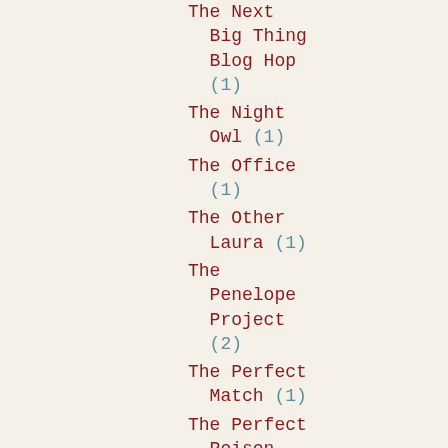The Next Big Thing Blog Hop (1)
The Night Owl (1)
The Office (1)
The Other Laura (1)
The Penelope Project (2)
The Perfect Match (1)
The Perfect Poison